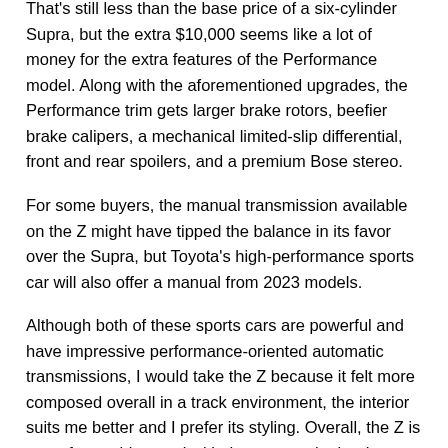That's still less than the base price of a six-cylinder Supra, but the extra $10,000 seems like a lot of money for the extra features of the Performance model. Along with the aforementioned upgrades, the Performance trim gets larger brake rotors, beefier brake calipers, a mechanical limited-slip differential, front and rear spoilers, and a premium Bose stereo.
For some buyers, the manual transmission available on the Z might have tipped the balance in its favor over the Supra, but Toyota's high-performance sports car will also offer a manual from 2023 models.
Although both of these sports cars are powerful and have impressive performance-oriented automatic transmissions, I would take the Z because it felt more composed overall in a track environment, the interior suits me better and I prefer its styling. Overall, the Z is more fun to drive, and with these cars, that's what matters most.